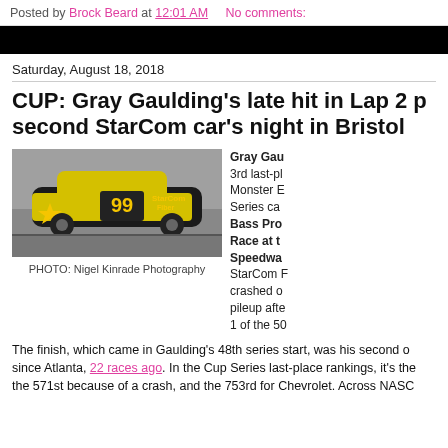Posted by Brock Beard at 12:01 AM    No comments:
CUP: Gray Gaulding's late hit in Lap 2 paints second StarCom car's night in Bristol
Saturday, August 18, 2018
[Figure (photo): NASCAR Cup Series car #99 StarCom Fiber Chevrolet racing on track. PHOTO: Nigel Kinrade Photography]
PHOTO: Nigel Kinrade Photography
Gray Gau... 3rd last-pl... Monster E... Series ca... Bass Pro... Race at t... Speedwa... StarCom F... crashed o... pileup afte... 1 of the 50...
The finish, which came in Gaulding's 48th series start, was his second of the season since Atlanta, 22 races ago. In the Cup Series last-place rankings, it's the 571st because of a crash, and the 753rd for Chevrolet. Across NASC...